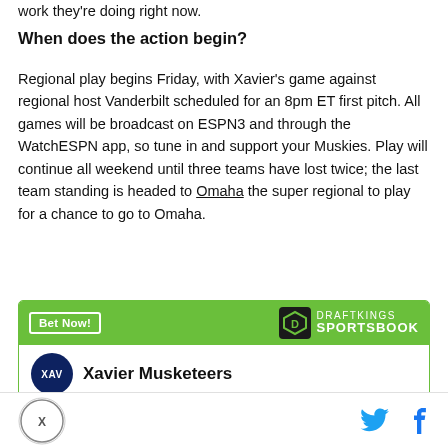work they're doing right now.
When does the action begin?
Regional play begins Friday, with Xavier's game against regional host Vanderbilt scheduled for an 8pm ET first pitch. All games will be broadcast on ESPN3 and through the WatchESPN app, so tune in and support your Muskies. Play will continue all weekend until three teams have lost twice; the last team standing is headed to Omaha the super regional to play for a chance to go to Omaha.
[Figure (other): DraftKings Sportsbook bet widget featuring Xavier Musketeers with Bet Now button and team badge]
Site logo, Twitter icon, Facebook icon